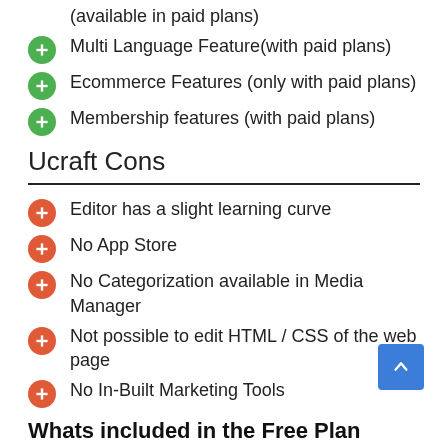(available in paid plans)
Multi Language Feature(with paid plans)
Ecommerce Features (only with paid plans)
Membership features (with paid plans)
Ucraft Cons
Editor has a slight learning curve
No App Store
No Categorization available in Media Manager
Not possible to edit HTML / CSS of the web page
No In-Built Marketing Tools
Whats included in the Free Plan